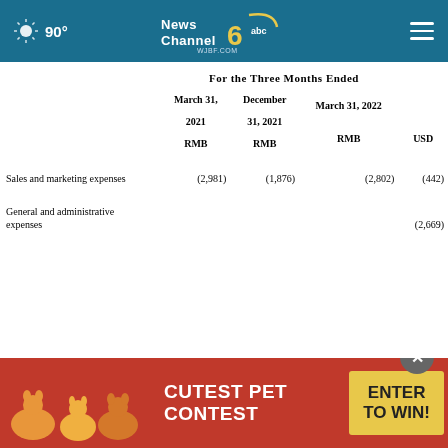NewsChannel 6 abc WJBF.COM | 90°
For the Three Months Ended
|  | March 31, 2021
RMB | December 31, 2021
RMB | March 31, 2022
RMB | March 31, 2022
USD |
| --- | --- | --- | --- | --- |
| Sales and marketing expenses | (2,981) | (1,876) | (2,802) | (442) |
| General and administrative expenses |  |  |  | (2,669) |
[Figure (screenshot): CUTEST PET CONTEST advertisement banner with animals and ENTER TO WIN button]